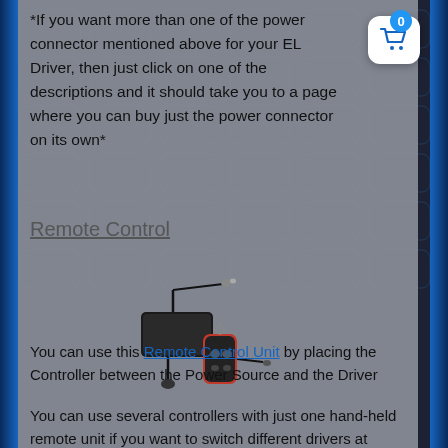*If you want more than one of the power connector mentioned above for your EL Driver, then just click on one of the descriptions and it should take you to a page where you can buy just the power connector on its own*
Remote Control
[Figure (photo): A remote control unit consisting of a black rectangular controller/driver box and a small black key-fob style remote handset, connected by cables.]
You can use this Remote Control Unit by placing the Controller between the Power Source and the Driver
You can use several controllers with just one hand-held remote unit if you want to switch different drivers at once